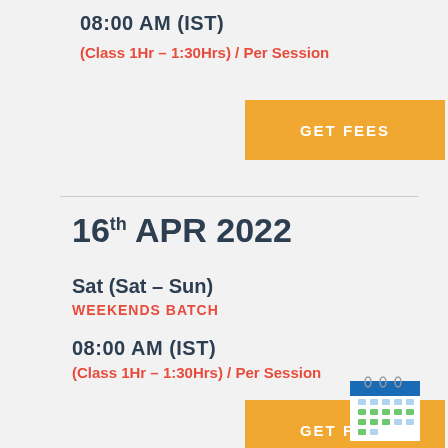08:00 AM (IST)
(Class 1Hr – 1:30Hrs) / Per Session
GET FEES
16th APR 2022
Sat (Sat – Sun)
WEEKENDS BATCH
08:00 AM (IST)
(Class 1Hr – 1:30Hrs) / Per Session
GET FEES
[Figure (illustration): Calendar icon at bottom right corner]